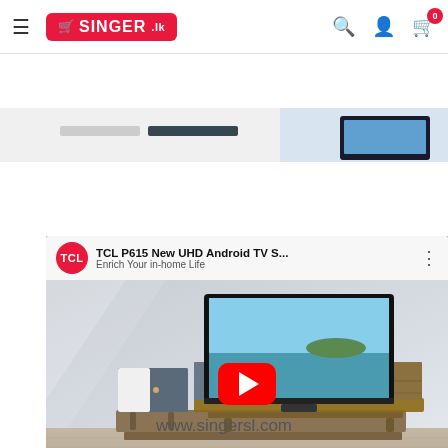[Figure (screenshot): Singer.lk website navigation bar with hamburger menu, Singer logo, search icon, user icon, and cart icon with badge showing 0]
[Figure (screenshot): Partial banner strip showing product promotional content]
[Figure (screenshot): YouTube video embed showing TCL P615 New UHD Android TV with TCL logo, video title 'TCL P615 New UHD Android TV S...' and subtitle 'Enrich Your in-home Life'. Video thumbnail shows a flat-screen TV on a wooden media unit with a red YouTube play button overlay.]
www.singersl.com